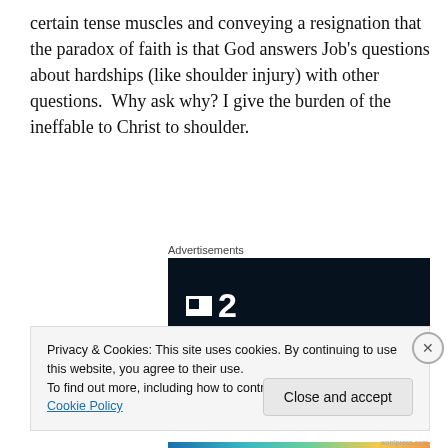certain tense muscles and conveying a resignation that the paradox of faith is that God answers Job's questions about hardships (like shoulder injury) with other questions.  Why ask why? I give the burden of the ineffable to Christ to shoulder.
Advertisements
[Figure (logo): Dark navy/black advertisement box with a white square logo and the number 2 in white text, resembling a TV channel logo (F2 style).]
Privacy & Cookies: This site uses cookies. By continuing to use this website, you agree to their use.
To find out more, including how to control cookies, see here: Cookie Policy
Close and accept